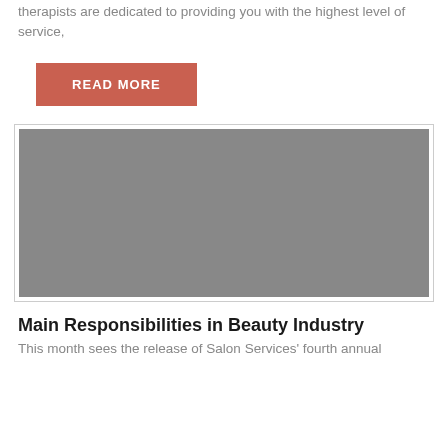therapists are dedicated to providing you with the highest level of service,
READ MORE
[Figure (photo): A large gray placeholder image area with a thin border]
Main Responsibilities in Beauty Industry
This month sees the release of Salon Services' fourth annual